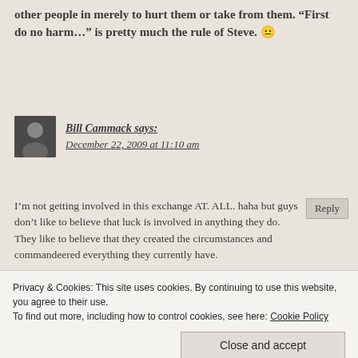other people in merely to hurt them or take from them. “First do no harm…” is pretty much the rule of Steve. 😐
Bill Cammack says: December 22, 2009 at 11:10 am
Reply
I’m not getting involved in this exchange AT. ALL. haha but guys don’t like to believe that luck is involved in anything they do. They like to believe that they created the circumstances and commandeered everything they currently have.
It’s just not true.
Privacy & Cookies: This site uses cookies. By continuing to use this website, you agree to their use. To find out more, including how to control cookies, see here: Cookie Policy
Close and accept
life would be different.